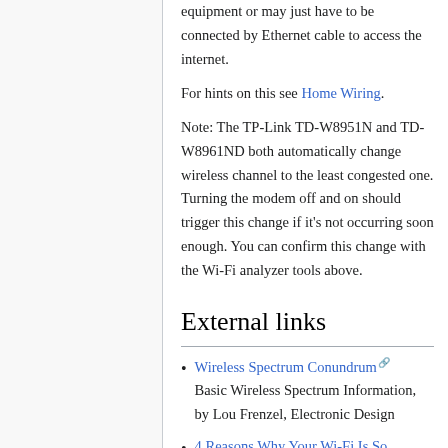equipment or may just have to be connected by Ethernet cable to access the internet.
For hints on this see Home Wiring.
Note: The TP-Link TD-W8951N and TD-W8961ND both automatically change wireless channel to the least congested one. Turning the modem off and on should trigger this change if it's not occurring soon enough. You can confirm this change with the Wi-Fi analyzer tools above.
External links
Wireless Spectrum Conundrum - Basic Wireless Spectrum Information, by Lou Frenzel, Electronic Design
4 Reasons Why Your Wi-Fi Is So